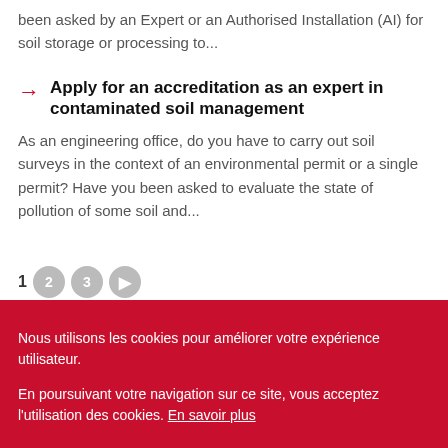been asked by an Expert or an Authorised Installation (AI) for soil storage or processing to...
Apply for an accreditation as an expert in contaminated soil management
As an engineering office, do you have to carry out soil surveys in the context of an environmental permit or a single permit? Have you been asked to evaluate the state of pollution of some soil and...
Nous utilisons les cookies pour améliorer votre expérience utilisateur.

En poursuivant votre navigation sur ce site, vous acceptez l'utilisation des cookies. En savoir plus